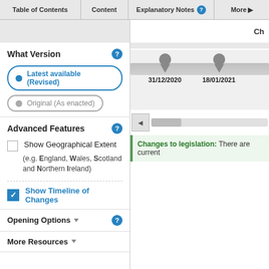Table of Contents | Content | Explanatory Notes | More
What Version
Latest available (Revised)
Original (As enacted)
Advanced Features
Show Geographical Extent
(e.g. England, Wales, Scotland and Northern Ireland)
Show Timeline of Changes
Opening Options
More Resources
Ch
31/12/2020
18/01/2021
Changes to legislation: There are current